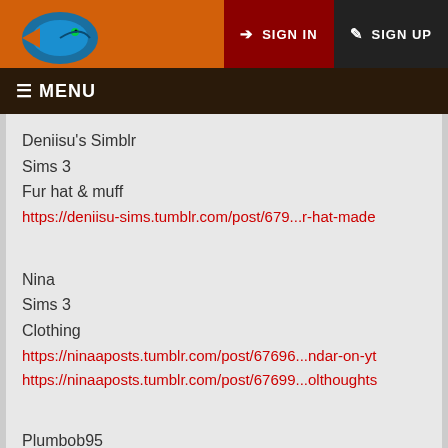SIGN IN  SIGN UP
☰ MENU
Deniisu's Simblr
Sims 3
Fur hat & muff
https://deniisu-sims.tumblr.com/post/679...r-hat-made
Nina
Sims 3
Clothing
https://ninaaposts.tumblr.com/post/67696...ndar-on-yt
https://ninaaposts.tumblr.com/post/67699...olthoughts
Plumbob95
Sims 3
House